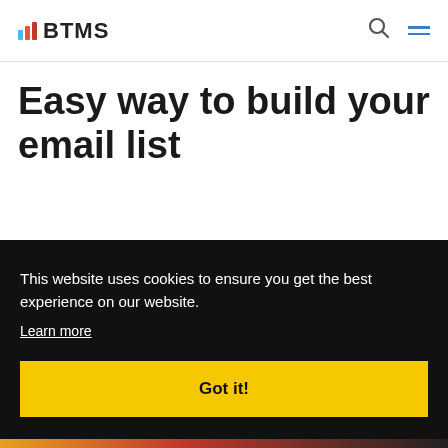[Figure (logo): BTMS logo with colorful bar chart icon and bold text BTMS]
Easy way to build your email list
This website uses cookies to ensure you get the best experience on our website.
Learn more
Got it!
[Figure (photo): Bottom banner showing BUILD YOU text with red/orange background and person partially visible]